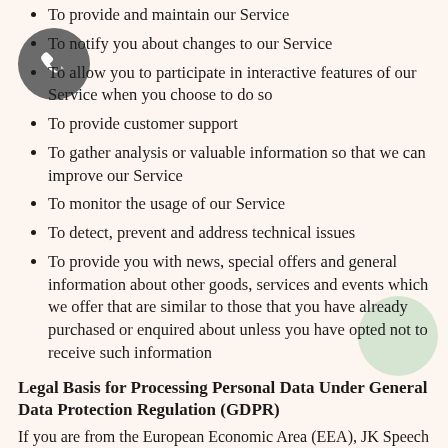To provide and maintain our Service
To notify you about changes to our Service
To allow you to participate in interactive features of our Service when you choose to do so
To provide customer support
To gather analysis or valuable information so that we can improve our Service
To monitor the usage of our Service
To detect, prevent and address technical issues
To provide you with news, special offers and general information about other goods, services and events which we offer that are similar to those that you have already purchased or enquired about unless you have opted not to receive such information
Legal Basis for Processing Personal Data Under General Data Protection Regulation (GDPR)
If you are from the European Economic Area (EEA), JK Speech and Health Services Pty Ltds legal basis for collecting and using the personal information described